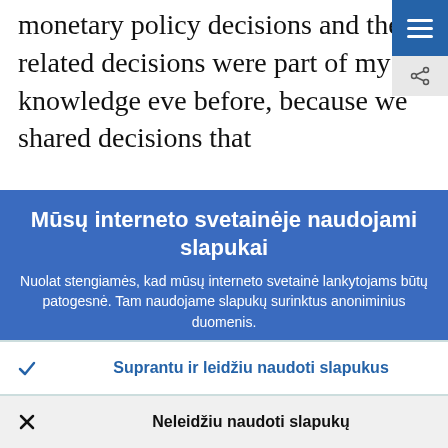monetary policy decisions and the related decisions were part of my knowledge eve before, because we shared decisions that ...
Mūsų interneto svetainėje naudojami slapukai
Nuolat stengiamės, kad mūsų interneto svetainė lankytojams būtų patogesnė. Tam naudojame slapukų surinktus anoniminius duomenis.
› Sužinokite daugiau, kaip naudojame slapukus
✓ Suprantu ir leidžiu naudoti slapukus
✗ Neleidžiu naudoti slapukų